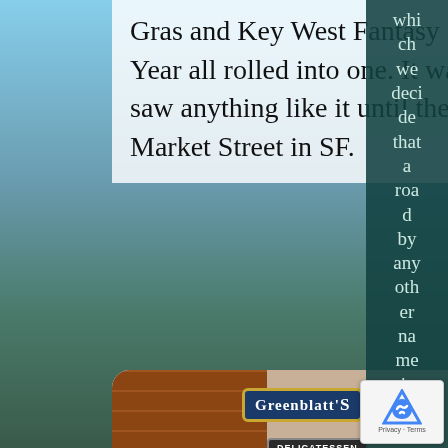Gras and Key West Fantasy Fest and Chinese New Year all rolled into one. It was fun to watch. Never saw anything like it until the Gay Pride Parade down Market Street in SF.
[Figure (photo): Street-level photo of Greenblatt's Delicatessen Restaurant and Fine Wine Shop on Sunset Boulevard. Shows the store signs, blue awning reading 'nblatt's Deli & Wine S...' and people on the sidewalk.]
which we decided that a road by any other name is still Sunset Boulevard...